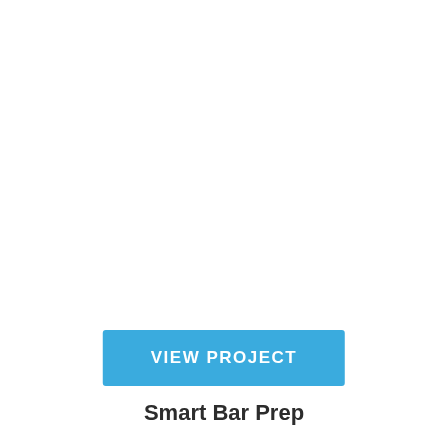[Figure (other): Blue button labeled VIEW PROJECT]
Smart Bar Prep